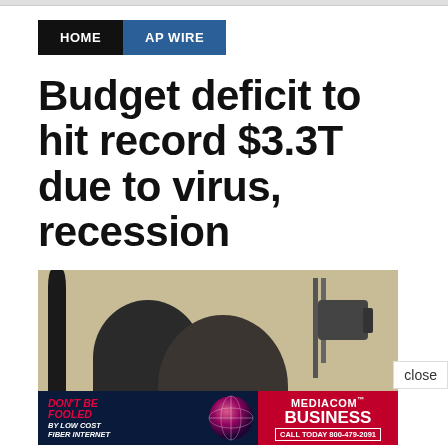HOME | AP WIRE
Budget deficit to hit record $3.3T due to virus, recession
[Figure (photo): Press conference photo showing a person at a podium with microphones, with an advertisement banner overlay at the bottom reading: DON'T BE FOOLED BY LOW COST FIBER INTERNET | MEDIACOM BUSINESS CALL TODAY 800-479-2091]
close